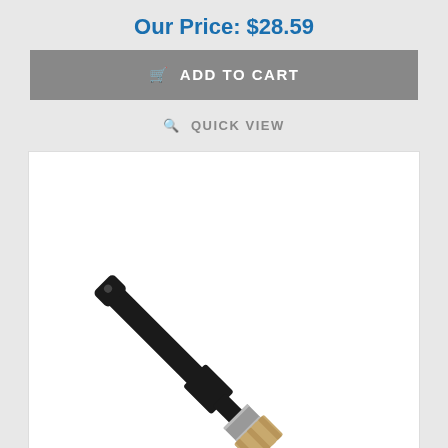Our Price: $28.59
ADD TO CART
QUICK VIEW
[Figure (photo): A paint brush with a black handle, shown diagonally against a white background. The brush has a silver ferrule and bristles visible at the bottom right.]